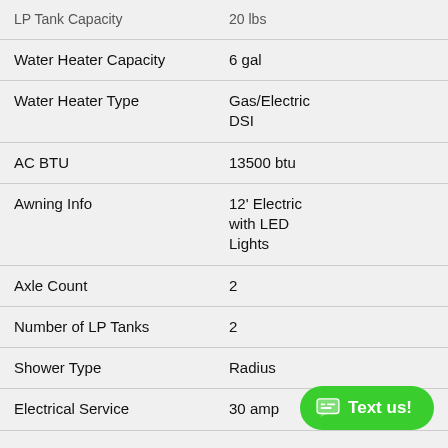| Specification | Value |
| --- | --- |
| LP Tank Capacity | 20 lbs |
| Water Heater Capacity | 6 gal |
| Water Heater Type | Gas/Electric DSI |
| AC BTU | 13500 btu |
| Awning Info | 12' Electric with LED Lights |
| Axle Count | 2 |
| Number of LP Tanks | 2 |
| Shower Type | Radius |
| Electrical Service | 30 amp |
Similar Travel Trailer Floorplans
Front Bedroom